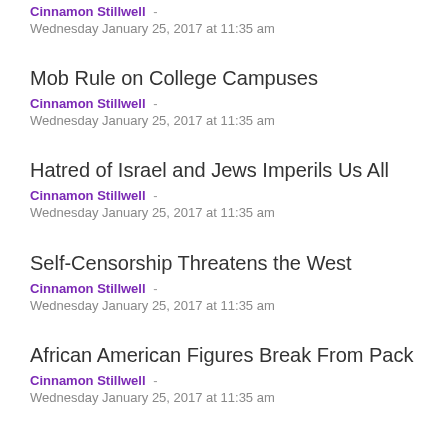Cinnamon Stillwell -
Wednesday January 25, 2017 at 11:35 am
Mob Rule on College Campuses
Cinnamon Stillwell -
Wednesday January 25, 2017 at 11:35 am
Hatred of Israel and Jews Imperils Us All
Cinnamon Stillwell -
Wednesday January 25, 2017 at 11:35 am
Self-Censorship Threatens the West
Cinnamon Stillwell -
Wednesday January 25, 2017 at 11:35 am
African American Figures Break From Pack
Cinnamon Stillwell -
Wednesday January 25, 2017 at 11:35 am